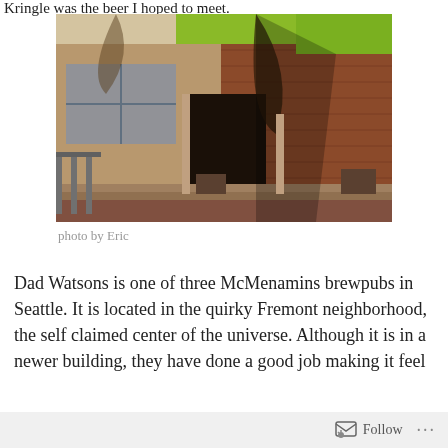Kringle was the beer I hoped to meet.
[Figure (photo): Exterior of Dad Watsons McMenamins brewpub in Seattle's Fremont neighborhood. A brick building with green signage, large windows, steps leading to the entrance, and trees casting shadows on the facade.]
photo by Eric
Dad Watsons is one of three McMenamins brewpubs in Seattle. It is located in the quirky Fremont neighborhood, the self claimed center of the universe. Although it is in a newer building, they have done a good job making it feel
Follow ...